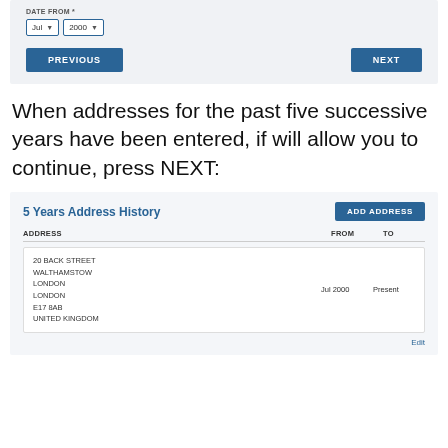[Figure (screenshot): Form section showing DATE FROM field with dropdowns set to Jul and 2000, and PREVIOUS and NEXT navigation buttons]
When addresses for the past five successive years have been entered, if will allow you to continue, press NEXT:
[Figure (screenshot): 5 Years Address History panel with ADD ADDRESS button, table showing ADDRESS, FROM, TO columns, and an entry: 20 BACK STREET, WALTHAMSTOW, LONDON, LONDON, E17 8AB, UNITED KINGDOM, From: Jul 2000, To: Present, with Edit link]